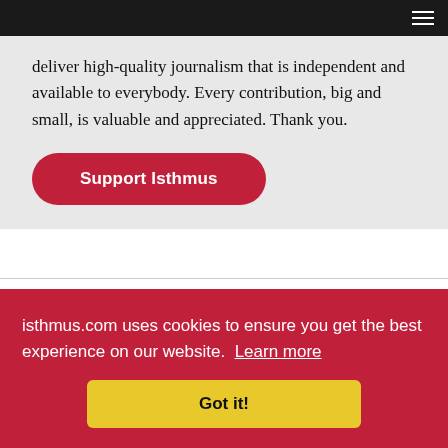Navigation bar with hamburger menu
deliver high-quality journalism that is independent and available to everybody. Every contribution, big and small, is valuable and appreciated. Thank you.
Support Isthmus
Info
| Field | Value |
| --- | --- |
| LOCATION | Bartell Theatre 113 E. Mifflin St., Madison, Wisconsin 53703 |
| ISTHMUS CALENDAR |  |
| COMMUNITY CATEGORY |  |
| EVENT CATEGORIES | Theatre & Dance |
| WEBSITE | What Every Vessel |
| PHONE | 608-661-9696 |
isthmus.com uses cookies to ensure you get the best experience on our website.  Learn more
Got it!